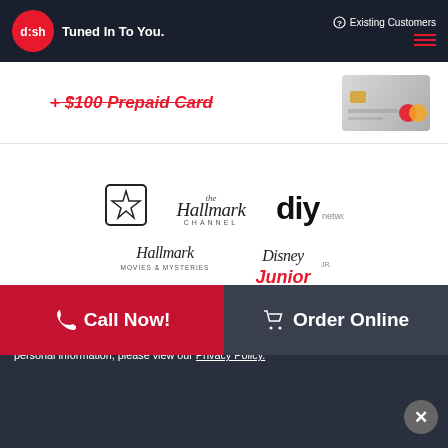DISH — Tuned In To You. | Existing Customers
[Figure (screenshot): Partial promotional section showing '+ $100 Prepaid Card' text in red italic with a Mastercard prepaid card image on the right]
[Figure (logo): Channel logos: Freeform, Hallmark Channel, DIY Network, Hallmark Movies & Mysteries, Disney Junior]
[Figure (other): Red CTA button partially visible at bottom of main content]
[Figure (infographic): Two-panel CTA bar: 'Call Now!' on red left panel, 'Order Online' on dark gray right panel]
We take your privacy seriously. For information about our use of cookies for analytics, advertising, and site functionality; how we collect, use, share, and sell your personal information; and how to exercise your rights with regard to your personal information, please view our Privacy Policy.